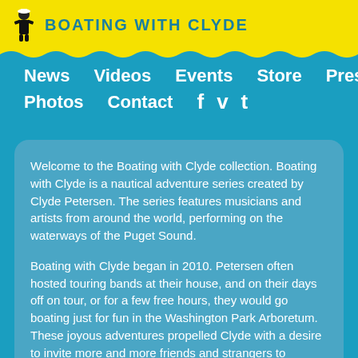BOATING WITH CLYDE
News
Videos
Events
Store
Press
Photos
Contact
Welcome to the Boating with Clyde collection. Boating with Clyde is a nautical adventure series created by Clyde Petersen. The series features musicians and artists from around the world, performing on the waterways of the Puget Sound.
Boating with Clyde began in 2010. Petersen often hosted touring bands at their house, and on their days off on tour, or for a few free hours, they would go boating just for fun in the Washington Park Arboretum. These joyous adventures propelled Clyde with a desire to invite more and more friends and strangers to